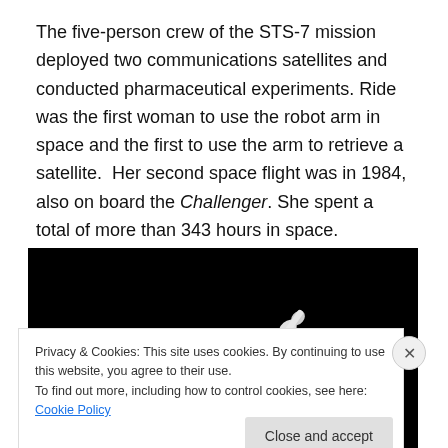The five-person crew of the STS-7 mission deployed two communications satellites and conducted pharmaceutical experiments. Ride was the first woman to use the robot arm in space and the first to use the arm to retrieve a satellite.  Her second space flight was in 1984, also on board the Challenger. She spent a total of more than 343 hours in space.
[Figure (photo): Black and white photograph showing a white robotic arm or satellite component against a black space background.]
Privacy & Cookies: This site uses cookies. By continuing to use this website, you agree to their use.
To find out more, including how to control cookies, see here: Cookie Policy